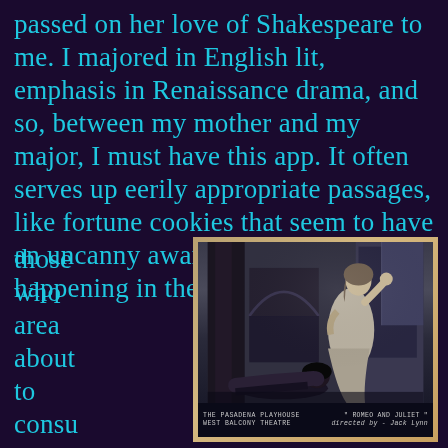passed on her love of Shakespeare to me. I majored in English lit, emphasis in Renaissance drama, and so, between my mother and my major, I must have this app. It often serves up eerily appropriate passages, like fortune cookies that seem to have an uncanny awareness of what is happening in the lives of those who area about to consume them.
[Figure (photo): Black and white theatrical photograph from The Pasadena Playhouse, West Balcony Theatre, production of 'Romeo and Juliet' directed by Jack Lynn. Shows a woman (Juliet) standing with hand raised near her face, and a figure lying down in the foreground.]
THE PASADENA PLAYHOUSE WEST BALCONY THEATRE  "ROMEO AND JULIET"  directed by - Jack Lynn